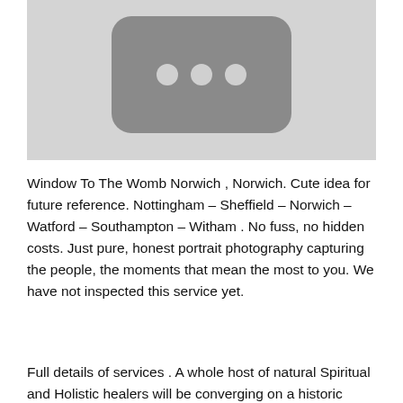[Figure (screenshot): A grayscale placeholder image showing a YouTube-like play button icon (rounded rectangle with three dots) centered on a light gray background.]
Window To The Womb Norwich , Norwich. Cute idea for future reference. Nottingham – Sheffield – Norwich – Watford – Southampton – Witham . No fuss, no hidden costs. Just pure, honest portrait photography capturing the people, the moments that mean the most to you. We have not inspected this service yet.
Full details of services . A whole host of natural Spiritual and Holistic healers will be converging on a historic